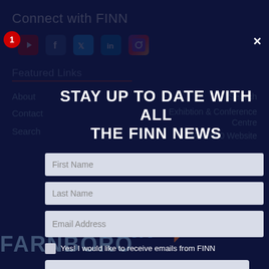Connect with FINN
Featured Links
About
Contact
Search
Search
Exhibtion & Conference Centre
FIA 2020 Website
STAY UP TO DATE WITH ALL THE FINN NEWS
First Name
Last Name
Email Address
Yes! I would like to receive emails from FINN
ERROR for site owner: Invalid domain for site key
reCAPTCHA
Privacy • Terms